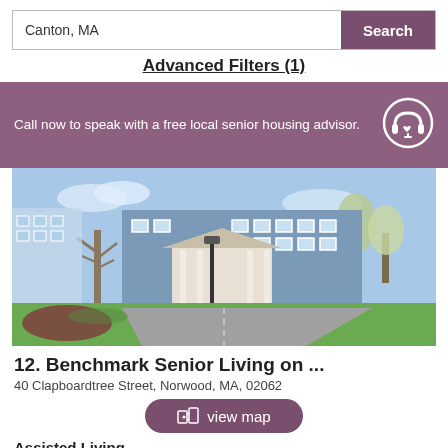Canton, MA
Search
Advanced Filters (1)
Call now to speak with a free local senior housing advisor.
[Figure (photo): Exterior photo of Benchmark Senior Living facility — a large blue multi-story building with a white portico entrance, driveway, green lawn, and trees.]
12. Benchmark Senior Living on ...
40 Clapboardtree Street, Norwood, MA, 02062
view map
Assisted Living